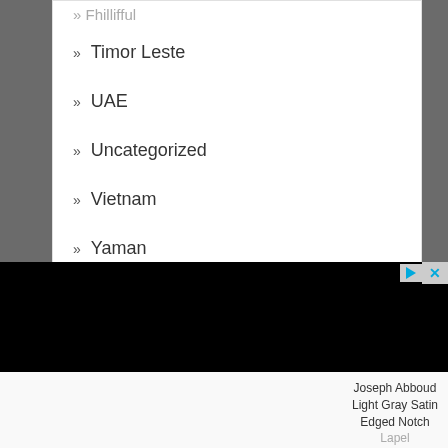Timor Leste
UAE
Uncategorized
Vietnam
Yaman
[Figure (other): Black advertisement bar with play and close controls]
Joseph Abboud Light Gray Satin Edged Notch Lapel